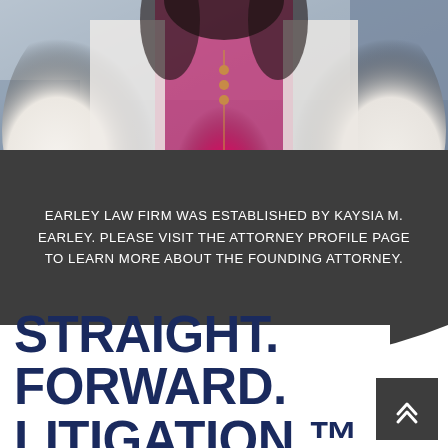[Figure (photo): Professional photo of a woman (Kaysia M. Earley, founding attorney) in a white blazer over a magenta/pink top, standing in what appears to be an outdoor or studio setting with a blurred background.]
EARLEY LAW FIRM WAS ESTABLISHED BY KAYSIA M. EARLEY. PLEASE VISIT THE ATTORNEY PROFILE PAGE TO LEARN MORE ABOUT THE FOUNDING ATTORNEY.
STRAIGHT. FORWARD. LITIGATION.™